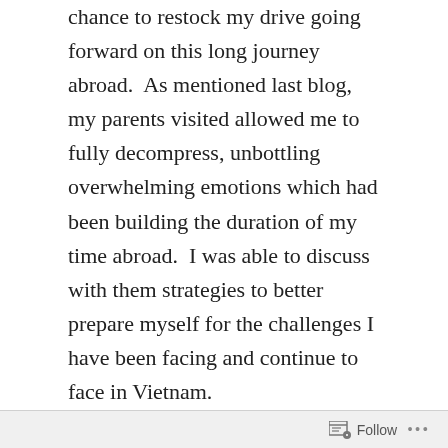chance to restock my drive going forward on this long journey abroad.  As mentioned last blog, my parents visited allowed me to fully decompress, unbottling overwhelming emotions which had been building the duration of my time abroad.  I was able to discuss with them strategies to better prepare myself for the challenges I have been facing and continue to face in Vietnam.
Harry's visit allowed me to escape from all that.  Several times throughout his visit I forgot I was in Vietnam.  I was transported back to a comfortable couch in New Orleans or New York, just sitting around and shooting the shit with an old friend.  As much as I love
Follow